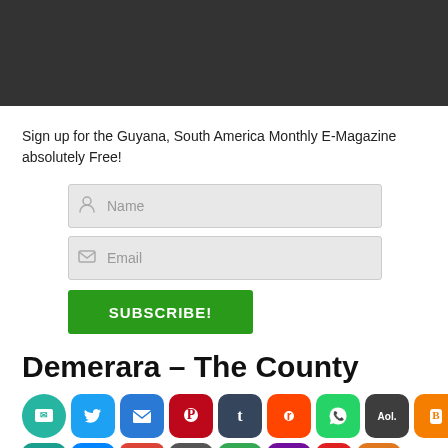[Figure (other): Dark gray/charcoal header banner area at top of page]
Sign up for the Guyana, South America Monthly E-Magazine absolutely Free!
[Figure (other): Form with Name input field, Email input field, and green SUBSCRIBE! button]
Demerara – The County
[Figure (other): Row of social media sharing icons: Messages, Twitter, Email, Pinterest, Tumblr, Reddit, WhatsApp, AOL, Blogger, Menu. Second partial row: copy, Messenger, Gmail, print, more, Yahoo, unknown, Zulily]